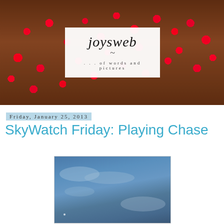[Figure (photo): Blog header banner showing red berries on branches with a white logo box overlay reading 'joysweb ... of words and pictures']
Friday, January 25, 2013
SkyWatch Friday: Playing Chase
[Figure (photo): Sky photograph showing blue sky with clouds]